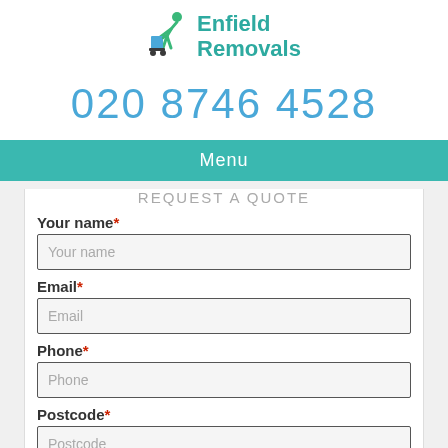[Figure (logo): Enfield Removals logo with a green figure pushing a trolley and teal text]
020 8746 4528
Menu
REQUEST A QUOTE
Your name*
Your name (placeholder)
Email*
Email (placeholder)
Phone*
Phone (placeholder)
Postcode*
Postcode (placeholder)
Message